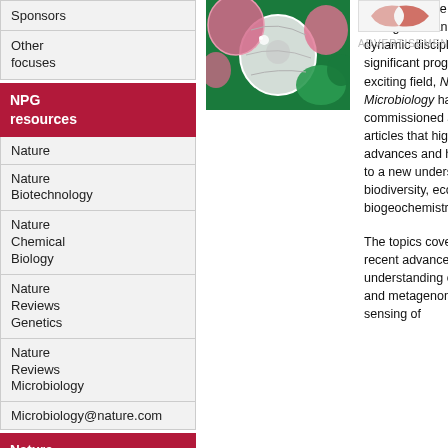Sponsors
Other focuses
NPG resources
Nature
Nature Biotechnology
Nature Chemical Biology
Nature Reviews Genetics
Nature Reviews Microbiology
Microbiology@nature.com
Nature Research Journals
by Subject Area
Chemistry
Chemistry Research
[Figure (photo): Microscopy image showing marine microbiology cells in pink and green colors]
decade marine microbiology has emerged as an important and dynamic discipline. To mark the significant progress enjoyed by this exciting field, Nature Reviews Microbiology has specially commissioned a collection of articles that highlight the latest advances and how they are leading to a new understanding of biodiversity, ecology and biogeochemistry. The topics covered range from recent advances in our understanding of marine ecology and metagenomics to the remote sensing of
ADVERTISEMENT